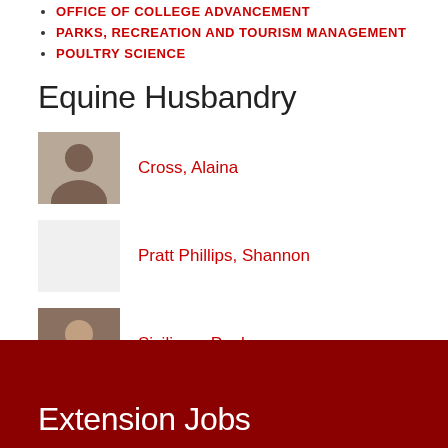OFFICE OF COLLEGE ADVANCEMENT
PARKS, RECREATION AND TOURISM MANAGEMENT
POULTRY SCIENCE
Equine Husbandry
Cross, Alaina
Pratt Phillips, Shannon
Siciliano, Paul
Stroud, Lori
Extension Jobs